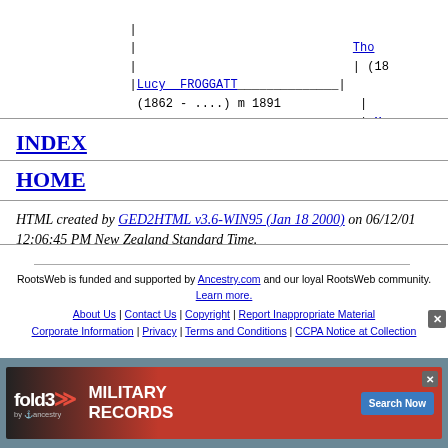[Figure (other): Genealogy tree diagram showing Lucy FROGGATT (1862 - ....) m 1891 with connecting lines to ancestors on the right side (Tho... (18...) and Mar... (18...))]
INDEX
HOME
HTML created by GED2HTML v3.6-WIN95 (Jan 18 2000) on 06/12/01 12:06:45 PM New Zealand Standard Time.
RootsWeb is funded and supported by Ancestry.com and our loyal RootsWeb community. Learn more. | About Us | Contact Us | Copyright | Report Inappropriate Material | Corporate Information | Privacy | Terms and Conditions | CCPA Notice at Collection
[Figure (photo): Fold3 Military Records advertisement banner with Search Now button]